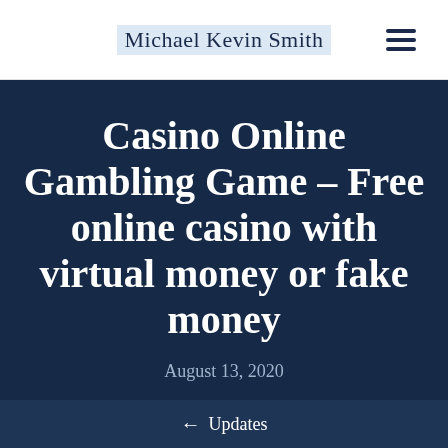Michael Kevin Smith
Casino Online Gambling Game – Free online casino with virtual money or fake money
August 13, 2020
← Updates